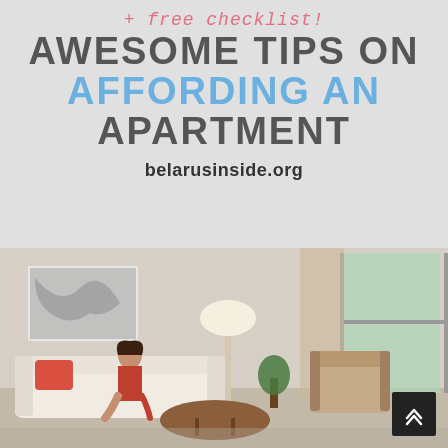+ free checklist!
AWESOME TIPS ON AFFORDING AN APARTMENT
belarusinside.org
[Figure (photo): Interior photo of a modern apartment living room with a woman sitting on a white sofa, a round wooden coffee table, white floor lamp, abstract wall art, and large windows with curtains. Scroll-to-top arrow button in bottom-right corner.]